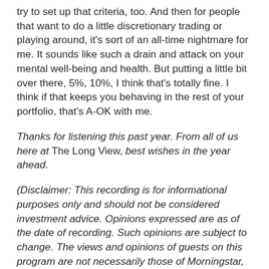try to set up that criteria, too. And then for people that want to do a little discretionary trading or playing around, it's sort of an all-time nightmare for me. It sounds like such a drain and attack on your mental well-being and health. But putting a little bit over there, 5%, 10%, I think that's totally fine. I think if that keeps you behaving in the rest of your portfolio, that's A-OK with me.
Thanks for listening this past year. From all of us here at The Long View, best wishes in the year ahead.
(Disclaimer: This recording is for informational purposes only and should not be considered investment advice. Opinions expressed are as of the date of recording. Such opinions are subject to change. The views and opinions of guests on this program are not necessarily those of Morningstar, Inc. and its affiliates. Morningstar and its affiliates...